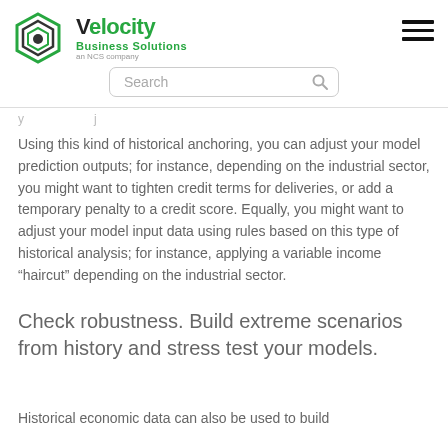Velocity Business Solutions — an NCS company
Using this kind of historical anchoring, you can adjust your model prediction outputs; for instance, depending on the industrial sector, you might want to tighten credit terms for deliveries, or add a temporary penalty to a credit score. Equally, you might want to adjust your model input data using rules based on this type of historical analysis; for instance, applying a variable income “haircut” depending on the industrial sector.
Check robustness. Build extreme scenarios from history and stress test your models.
Historical economic data can also be used to build